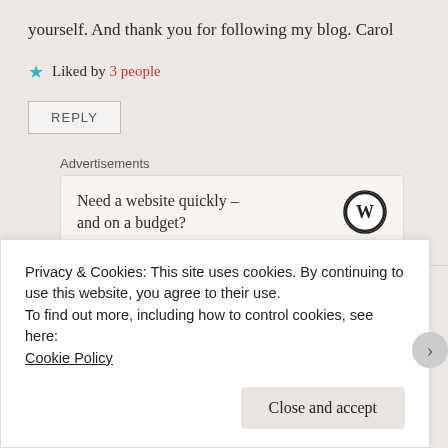yourself. And thank you for following my blog. Carol
Liked by 3 people
REPLY
Advertisements
Need a website quickly – and on a budget?
araneus1
Privacy & Cookies: This site uses cookies. By continuing to use this website, you agree to their use.
To find out more, including how to control cookies, see here:
Cookie Policy
Close and accept